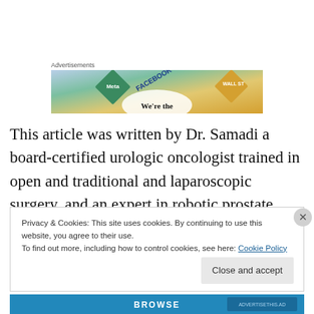Advertisements
[Figure (photo): Advertisement banner showing Meta and Facebook branded items with text 'We're the']
This article was written by Dr. Samadi a board-certified urologic oncologist trained in open and traditional and laparoscopic surgery, and an expert in robotic prostate surgery in New York City.
Privacy & Cookies: This site uses cookies. By continuing to use this website, you agree to their use.
To find out more, including how to control cookies, see here: Cookie Policy
Close and accept